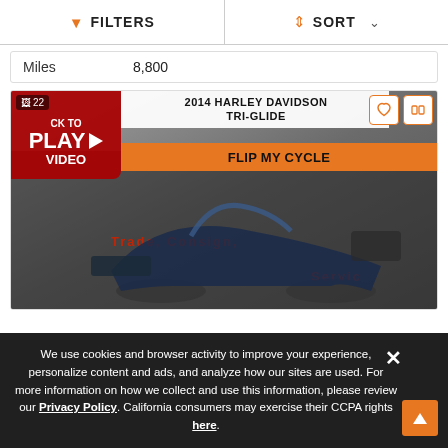FILTERS   SORT
Miles   8,800
[Figure (screenshot): 2014 Harley Davidson Tri-Glide motorcycle listing photo with play video overlay and Flip My Cycle branding banner]
We use cookies and browser activity to improve your experience, personalize content and ads, and analyze how our sites are used. For more information on how we collect and use this information, please review our Privacy Policy. California consumers may exercise their CCPA rights here.